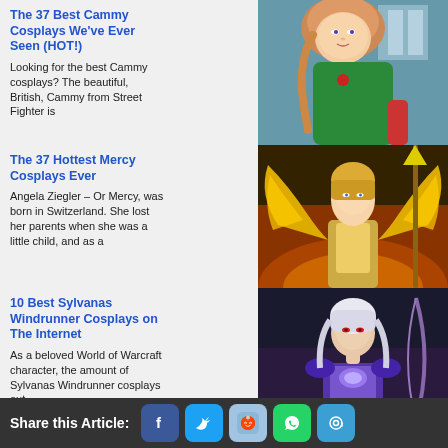The 37 Best Cammy Cosplays We've Ever Seen (HOT!)
Looking for the best Cammy cosplays?  The beautiful, British, Cammy from Street Fighter is
[Figure (photo): Woman in green costume, Cammy cosplay]
The 37 Hottest Mercy Cosplays Ever
Angela Ziegler – Or Mercy, was born in Switzerland. She lost her parents when she was a little child, and as a
[Figure (photo): Mercy cosplay with golden wings and armor]
10 Best Sylvanas Windrunner Cosplays on The Internet
As a beloved World of Warcraft character, the amount of Sylvanas Windrunner cosplays out
[Figure (photo): Sylvanas Windrunner cosplay with white hair and armor]
10 Best Jaina Proudmoore Cosplays
10 of the Hottest Jaina Proudmoore Cosplays
[Figure (photo): Jaina Proudmoore cosplay with magical background]
Share this Article: